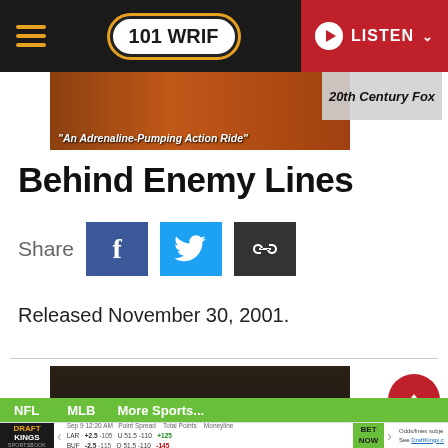101 WRIF — LISTEN
[Figure (photo): Movie banner image for Behind Enemy Lines with tagline 'An Adrenaline-Pumping Action Ride', with 20th Century Fox overlay]
Behind Enemy Lines
Share
[Figure (infographic): Social share buttons: Facebook, Twitter, and link icon]
Released November 30, 2001.
[Figure (photo): Advertisement for Black Hawk Down — Winner of 2 Academy Awards (2001), Best Film Editing and Best Sound. With LEAVE button.]
NFL   MLB   More Sports...
DRAFT KINGS SPORTSBOOK — Sep 9 12:20 AM — Point Spread — Total Points — Moneyline — LAR +2.5 -105 U 51.5 -110 +125 — BUF -2.5 -115 O 51.5 -110 -145 — BET NOW — Odds/lines subject — See DraftKings.c